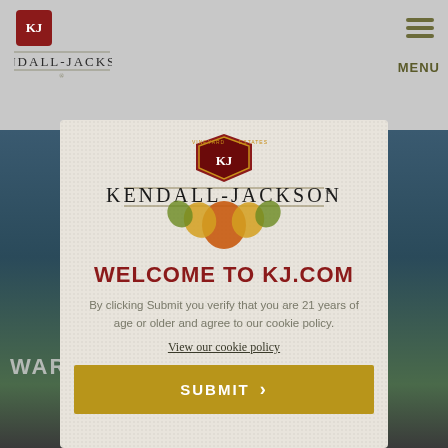[Figure (logo): Kendall-Jackson wine brand logo in top-left header area with small KJ badge]
[Figure (logo): Hamburger menu icon and MENU label in top-right corner]
[Figure (logo): Kendall-Jackson Vineyard Estates full logo with colorful grape leaf illustration and brand name]
WELCOME TO KJ.COM
By clicking Submit you verify that you are 21 years of age or older and agree to our cookie policy.
View our cookie policy
SUBMIT